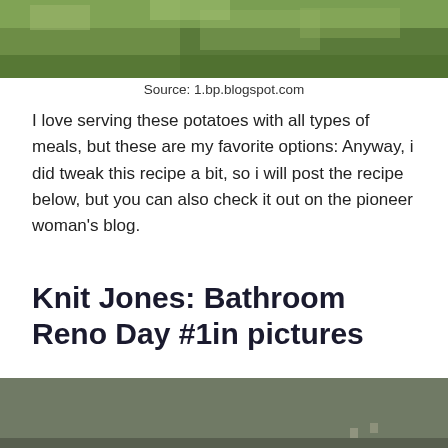[Figure (photo): Top portion of a photo showing green grass and a driveway or path]
Source: 1.bp.blogspot.com
I love serving these potatoes with all types of meals, but these are my favorite options: Anyway, i did tweak this recipe a bit, so i will post the recipe below, but you can also check it out on the pioneer woman's blog.
Knit Jones: Bathroom Reno Day #1in pictures
[Figure (photo): Photo showing an olive/grey-green cabinet or door corner with a light switch plate visible, against a white wall]